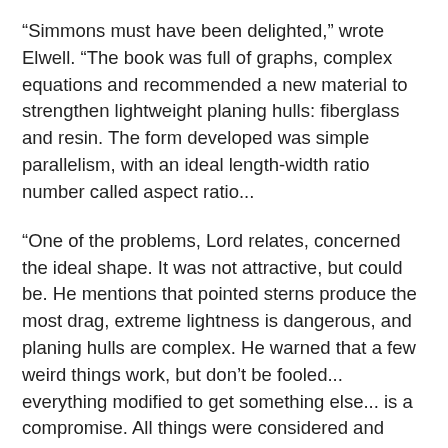“Simmons must have been delighted,” wrote Elwell. “The book was full of graphs, complex equations and recommended a new material to strengthen lightweight planing hulls: fiberglass and resin. The form developed was simple parallelism, with an ideal length-width ratio number called aspect ratio...
“One of the problems, Lord relates, concerned the ideal shape. It was not attractive, but could be. He mentions that pointed sterns produce the most drag, extreme lightness is dangerous, and planing hulls are complex. He warned that a few weird things work, but don’t be fooled... everything modified to get something else... is a compromise. All things were considered and applied for the ultimate goal of superlative speed; such as the nature of water, skimming on it, Newton’s Laws, Bernoulli’s Law of Lift, resistance, load, attack angles, rudder designs and center of gravity. The book was the mother lode for Simmons. Many surfers saw it in Simmons’ possession, but couldn’t understand it, much less apply it to surfboards. Simmons told me he went to a boat show and a salesman for fiberglass showed him the